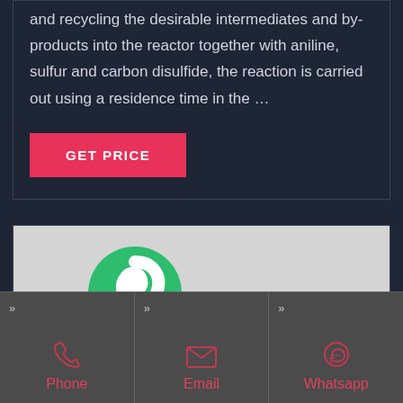and recycling the desirable intermediates and by-products into the reactor together with aniline, sulfur and carbon disulfide, the reaction is carried out using a residence time in the …
GET PRICE
[Figure (screenshot): Partial screenshot showing a green circular logo icon with a curl/spiral design and a blue cylindrical object, on a light gray background]
[Figure (infographic): Footer navigation bar with three columns: Phone (phone icon), Email (envelope icon), Whatsapp (WhatsApp icon), each with double-chevron arrows in top-left corners, dark gray background, icons and labels in red/pink color]